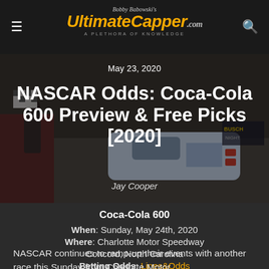Bobby Babowski's UltimateCapper A Plethora of Knowledge .com
[Figure (photo): NASCAR race car on track, driver with checkered flag in background, dark overlay with article headline]
May 23, 2020
NASCAR Odds: Coca-Cola 600 Preview & Free Picks [2020]
Jay Cooper
Coca-Cola 600
When: Sunday, May 24th, 2020
Where: Charlotte Motor Speedway Concord, North Carolina
Betting Odds: Lines&Odds
NASCAR continues to ramp-up their events with another race this Sunday from Charlotte Motor